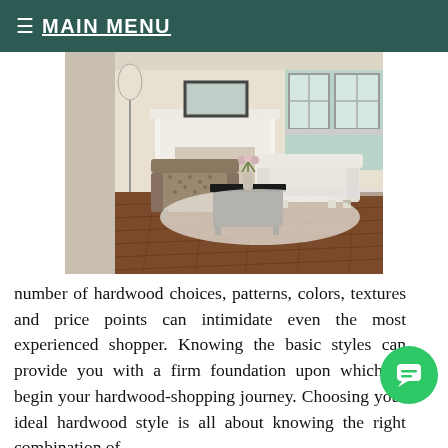≡ MAIN MENU
[Figure (photo): Interior living room with hardwood floors, a white fireplace, a patterned armchair, a white sofa, a black coffee table, and a white area rug.]
number of hardwood choices, patterns, colors, textures and price points can intimidate even the most experienced shopper. Knowing the basic styles can provide you with a firm foundation upon which to begin your hardwood-shopping journey. Choosing your ideal hardwood style is all about knowing the right combination of